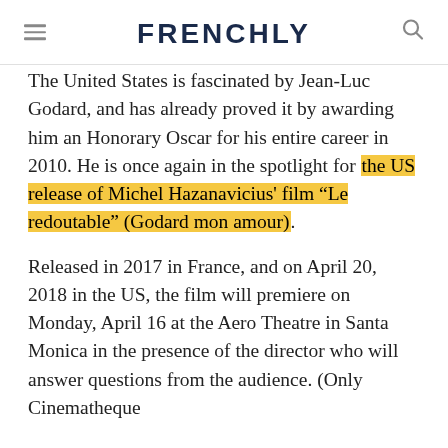FRENCHLY
The United States is fascinated by Jean-Luc Godard, and has already proved it by awarding him an Honorary Oscar for his entire career in 2010. He is once again in the spotlight for the US release of Michel Hazanavicius' film “Le redoutable” (Godard mon amour).
Released in 2017 in France, and on April 20, 2018 in the US, the film will premiere on Monday, April 16 at the Aero Theatre in Santa Monica in the presence of the director who will answer questions from the audience. (Only Cinematheque